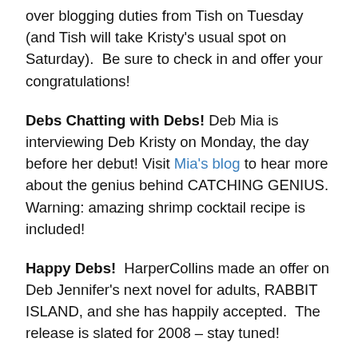over blogging duties from Tish on Tuesday (and Tish will take Kristy's usual spot on Saturday).  Be sure to check in and offer your congratulations!
Debs Chatting with Debs! Deb Mia is interviewing Deb Kristy on Monday, the day before her debut! Visit Mia's blog to hear more about the genius behind CATCHING GENIUS. Warning: amazing shrimp cocktail recipe is included!
Happy Debs!  HarperCollins made an offer on Deb Jennifer's next novel for adults, RABBIT ISLAND, and she has happily accepted.  The release is slated for 2008 – stay tuned!
Debs in Review! Jilian Vallade of Armchair Interviews gave GOOD THINGS 4 out of 5 stars and said "Mia King